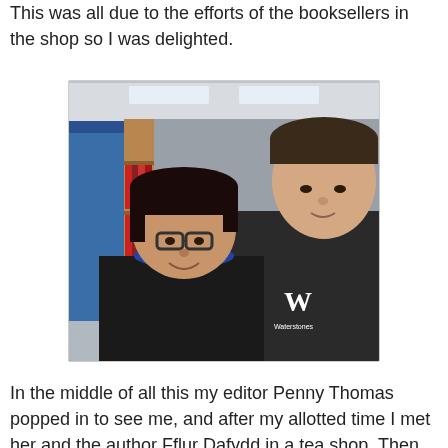This was all due to the efforts of the booksellers in the shop so I was delighted.
[Figure (photo): Two young men posing together in what appears to be a bookshop. The shorter man on the left wears glasses and a dark top with a blue collar. The taller man on the right wears a black Waterstones polo shirt. Behind them are bookshelves and a sign reading 'Poetry & Barddoniaet'.]
In the middle of all this my editor Penny Thomas popped in to see me, and after my allotted time I met her and the author Fflur Dafydd in a tea shop. Then, pausing to collect